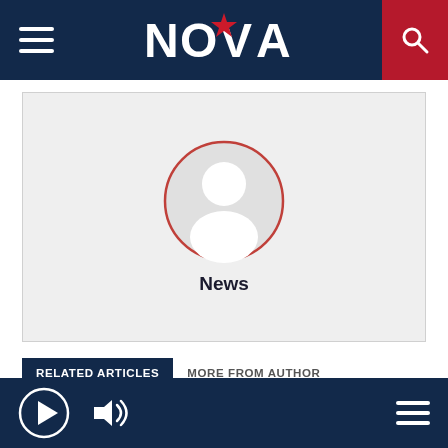NOVA
[Figure (illustration): Default user avatar placeholder — grey silhouette of a person inside a circle with a red border, on a light grey background, with the label 'News' below it.]
News
RELATED ARTICLES   MORE FROM AUTHOR
WATCH: Stars of Meatloaf Musical Arrive In Dublin
Player bar with play button, volume icon, and menu icon